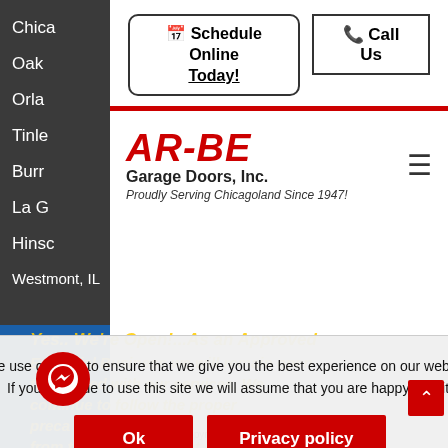Chica
Oak
Orla
Tinle
Burr
La G
Hinsc
Westmont, IL
[Figure (screenshot): AR-BE Garage Doors Inc. website screenshot showing navigation buttons 'Schedule Online Today!' and 'Call Us', logo with tagline 'Proudly Serving Chicagoland Since 1947!', a cookie consent dialog, and a blue banner section.]
We use cookies to ensure that we give you the best experience on our website. If you continue to use this site we will assume that you are happy with it.
Ok  Privacy policy
Copyright © 2022 All Rights Reserved | BBB